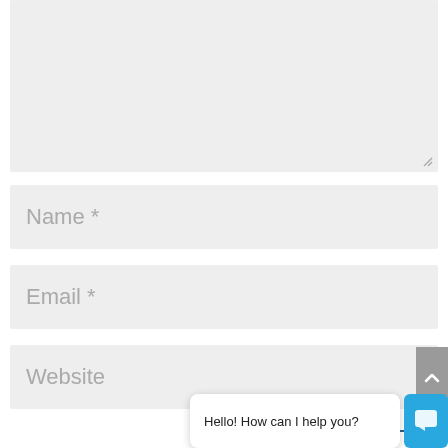[Figure (screenshot): A web form snippet showing a textarea (grayed out, with resize handle), followed by Name*, Email*, Website input fields, a Submit Comment button, a scroll-to-top arrow button, and a chat widget with the message 'Hello! How can I help you?']